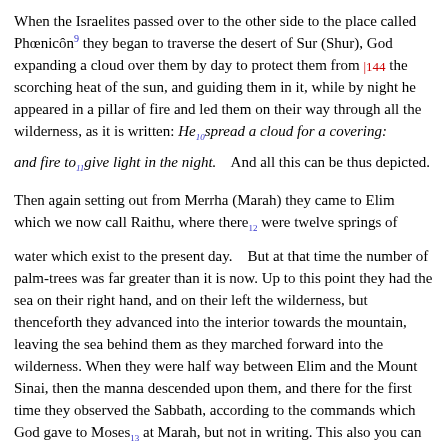When the Israelites passed over to the other side to the place called Phœnicôn [9] they began to traverse the desert of Sur (Shur), God expanding a cloud over them by day to protect them from |144 the scorching heat of the sun, and guiding them in it, while by night he appeared in a pillar of fire and led them on their way through all the wilderness, as it is written: He [10] spread a cloud for a covering:
and fire to [11] give light in the night.    And all this can be thus depicted.
Then again setting out from Merrha (Marah) they came to Elim which we now call Raithu, where there [12] were twelve springs of
water which exist to the present day.    But at that time the number of palm-trees was far greater than it is now. Up to this point they had the sea on their right hand, and on their left the wilderness, but thenceforth they advanced into the interior towards the mountain, leaving the sea behind them as they marched forward into the wilderness. When they were half way between Elim and the Mount Sinai, then the manna descended upon them, and there for the first time they observed the Sabbath, according to the commands which God gave to Moses [13] at Marah, but not in writing. This also you can
see thus depicted.
When they had come to Elim from Marah, and had their journey